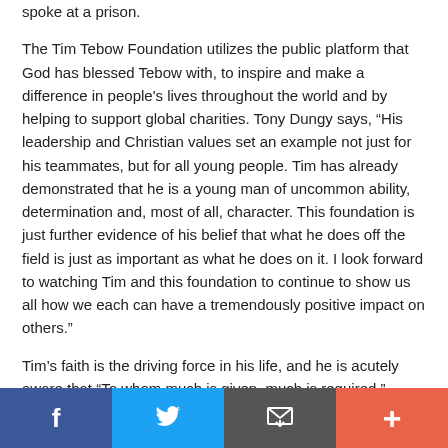spoke at a prison.
The Tim Tebow Foundation utilizes the public platform that God has blessed Tebow with, to inspire and make a difference in people's lives throughout the world and by helping to support global charities. Tony Dungy says, “His leadership and Christian values set an example not just for his teammates, but for all young people. Tim has already demonstrated that he is a young man of uncommon ability, determination and, most of all, character. This foundation is just further evidence of his belief that what he does off the field is just as important as what he does on it. I look forward to watching Tim and this foundation to continue to show us all how we each can have a tremendously positive impact on others.”
Tim’s faith is the driving force in his life, and he is acutely aware that “To whom much is given, much is required.”
Social share bar: Facebook, Twitter, Email, More